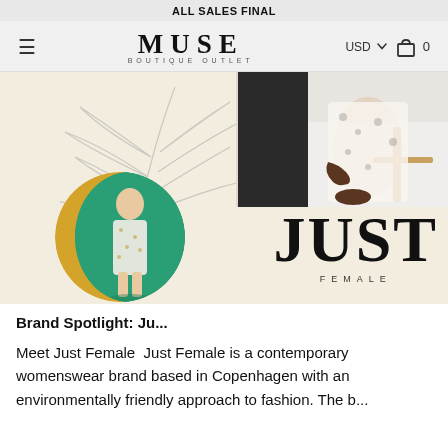ALL SALES FINAL
[Figure (logo): MUSE BOUTIQUE OUTLET logo with hamburger menu, USD currency selector, and cart icon showing 0 items]
[Figure (illustration): Hero banner image for Just Female brand: cream background with botanical line drawing of leaves, circular photo of woman in floral dress on green/yellow background, rectangular photo of woman in floral pajamas seated on wooden chair, and large bold text reading JUST FEMALE]
Brand Spotlight: Ju...
Meet Just Female  Just Female is a contemporary womenswear brand based in Copenhagen with an environmentally friendly approach to fashion. The b...